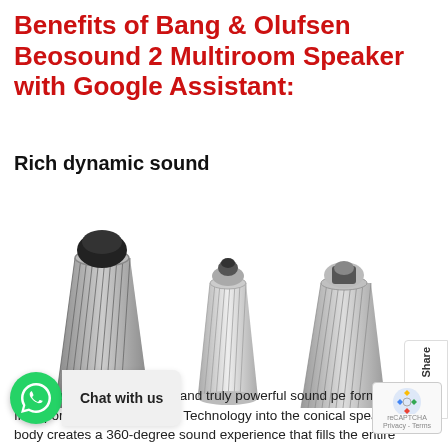Benefits of Bang & Olufsen Beosound 2 Multiroom Speaker with Google Assistant:
Rich dynamic sound
[Figure (photo): Three Bang & Olufsen Beosound 2 speakers shown from different angles — left speaker is dark/black at top with silver ribbed body, center speaker is silver/white full height, right speaker is smaller angled view with silver top and ribbed body]
Beosound 2 delivers stellar and truly powerful sound performance. Incorporating Acoustic Lens Technology into the conical speaker body creates a 360-degree sound experience that fills the entire room from anywhere you place the speaker